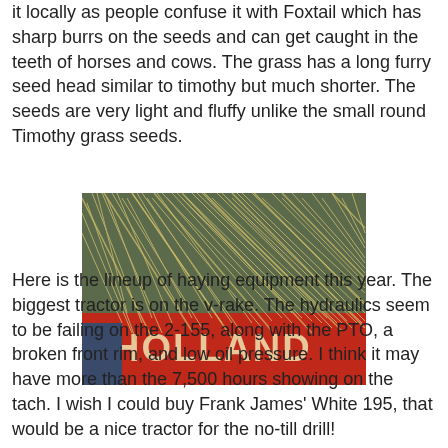it locally as people confuse it with Foxtail which has sharp burrs on the seeds and can get caught in the teeth of horses and cows. The grass has a long furry seed head similar to timothy but much shorter. The seeds are very light and fluffy unlike the small round Timothy grass seeds.
[Figure (photo): Close-up photograph of hay/dry grass piled on a red New Holland piece of farm equipment. The hay appears light and fluffy with many loose strands. The red machinery with 'HOLLAND' text is visible at the bottom of the image.]
Here is the lineup of haying equipment this year. The biggest tractor is on the v-rake. The hydraulics seem to be failing on the 2-155, along with the PTO, a broken front rim, and low oil pressure. I think it may have more than the 7,500 hours showing on the tach. I wish I could buy Frank James' White 195, that would be a nice tractor for the no-till drill!